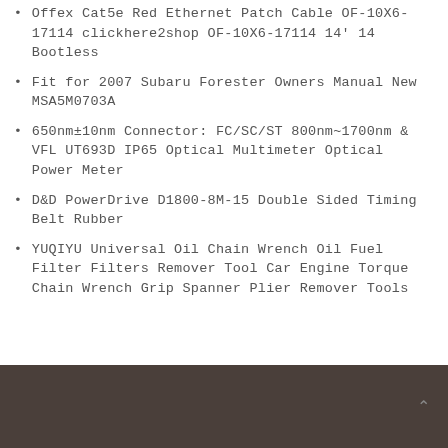Offex Cat5e Red Ethernet Patch Cable OF-10X6-17114 clickhere2shop OF-10X6-17114 14' 14 Bootless
Fit for 2007 Subaru Forester Owners Manual New MSA5M0703A
650nm±10nm Connector: FC/SC/ST 800nm~1700nm & VFL UT693D IP65 Optical Multimeter Optical Power Meter
D&D PowerDrive D1800-8M-15 Double Sided Timing Belt Rubber
YUQIYU Universal Oil Chain Wrench Oil Fuel Filter Filters Remover Tool Car Engine Torque Chain Wrench Grip Spanner Plier Remover Tools